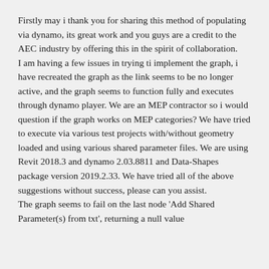Firstly may i thank you for sharing this method of populating via dynamo, its great work and you guys are a credit to the AEC industry by offering this in the spirit of collaboration. I am having a few issues in trying ti implement the graph, i have recreated the graph as the link seems to be no longer active, and the graph seems to function fully and executes through dynamo player. We are an MEP contractor so i would question if the graph works on MEP categories? We have tried to execute via various test projects with/without geometry loaded and using various shared parameter files. We are using Revit 2018.3 and dynamo 2.03.8811 and Data-Shapes package version 2019.2.33. We have tried all of the above suggestions without success, please can you assist. The graph seems to fail on the last node 'Add Shared Parameter(s) from txt', returning a null value